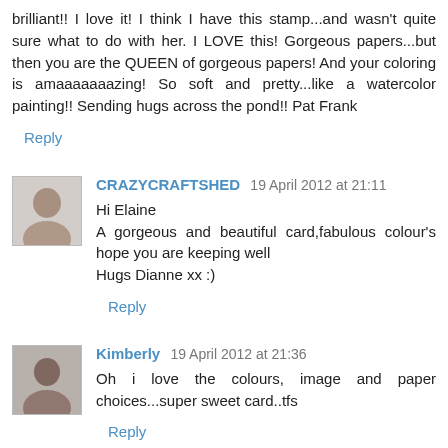brilliant!! I love it! I think I have this stamp...and wasn't quite sure what to do with her. I LOVE this! Gorgeous papers...but then you are the QUEEN of gorgeous papers! And your coloring is amaaaaaaazing! So soft and pretty...like a watercolor painting!! Sending hugs across the pond!! Pat Frank
Reply
CRAZYCRAFTSHED  19 April 2012 at 21:11
Hi Elaine
A gorgeous and beautiful card,fabulous colour's hope you are keeping well
Hugs Dianne xx :)
Reply
Kimberly  19 April 2012 at 21:36
Oh i love the colours, image and paper choices...super sweet card..tfs
Reply